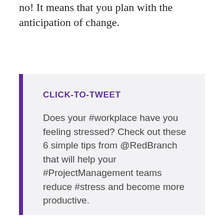no! It means that you plan with the anticipation of change.
CLICK-TO-TWEET

Does your #workplace have you feeling stressed? Check out these 6 simple tips from @RedBranch that will help your #ProjectManagement teams reduce #stress and become more productive.